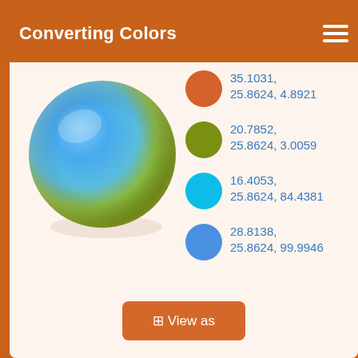Converting Colors
[Figure (illustration): A large circle with a gradient from bright blue (top-left) to yellow-green (bottom-right), representing a color sphere visualization.]
35.1031, 25.8624, 4.8921
20.7852, 25.8624, 3.0059
16.4053, 25.8624, 84.4381
28.8138, 25.8624, 99.9946
⊞ View as